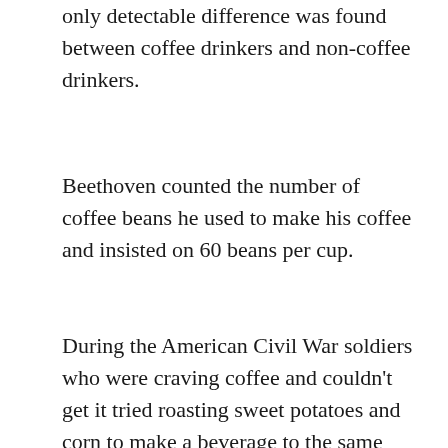only detectable difference was found between coffee drinkers and non-coffee drinkers.
Beethoven counted the number of coffee beans he used to make his coffee and insisted on 60 beans per cup.
During the American Civil War soldiers who were craving coffee and couldn't get it tried roasting sweet potatoes and corn to make a beverage to the same effect, but it didn't